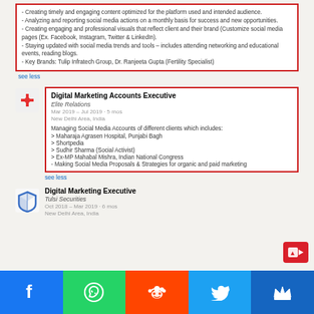[Figure (screenshot): LinkedIn profile screenshot showing work experience entries with red highlight boxes around job descriptions]
Make sure to mention all the roles and responsibilities point by point.
[Figure (infographic): Social media share buttons bar: Facebook (blue), WhatsApp (green), Reddit (orange), Twitter (blue), Crown icon (dark blue)]